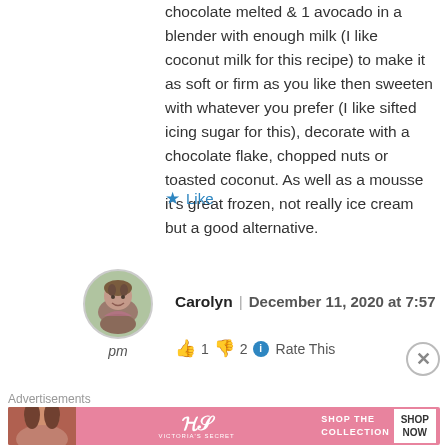chocolate melted & 1 avocado in a blender with enough milk (I like coconut milk for this recipe) to make it as soft or firm as you like then sweeten with whatever you prefer (I like sifted icing sugar for this), decorate with a chocolate flake, chopped nuts or toasted coconut. As well as a mousse it’s great frozen, not really ice cream but a good alternative.
★ Like
[Figure (photo): Circular avatar of a woman named Carolyn with label 'pm' below]
Carolyn | December 11, 2020 at 7:57 pm
👍 1 👎 2 ⓘ Rate This
Advertisements
[Figure (infographic): Victoria's Secret advertisement banner with pink background, model photo, VS logo, 'SHOP THE COLLECTION' text and 'SHOP NOW' button]